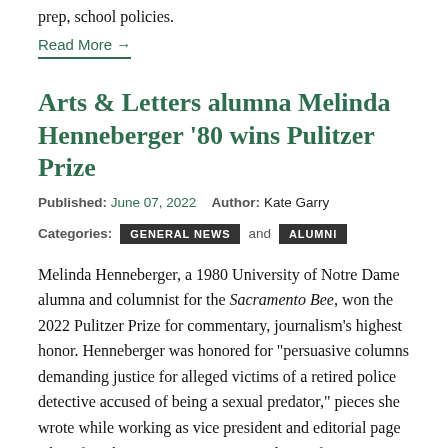prep, school policies.
Read More →
Arts & Letters alumna Melinda Henneberger '80 wins Pulitzer Prize
Published: June 07, 2022   Author: Kate Garry
Categories: GENERAL NEWS and ALUMNI
Melinda Henneberger, a 1980 University of Notre Dame alumna and columnist for the Sacramento Bee, won the 2022 Pulitzer Prize for commentary, journalism's highest honor. Henneberger was honored for "persuasive columns demanding justice for alleged victims of a retired police detective accused of being a sexual predator," pieces she wrote while working as vice president and editorial page editor for The Kansas City Star. Graduate of Notre Dame's College of Arts and Letters,